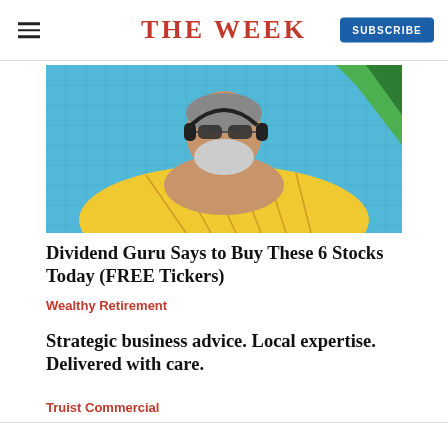THE WEEK
[Figure (photo): Older man with beard and sunglasses relaxing on a pineapple-shaped pool float in a blue swimming pool]
Dividend Guru Says to Buy These 6 Stocks Today (FREE Tickers)
Wealthy Retirement
Strategic business advice. Local expertise. Delivered with care.
Truist Commercial